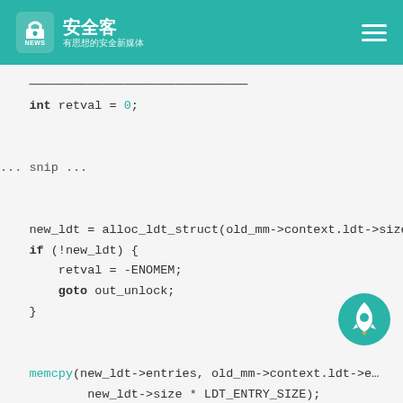安全客 有思想的安全新媒体
[Figure (screenshot): Code snippet showing C kernel code with int retval = 0; ... snip ... new_ldt = alloc_ldt_struct(old_mm->context.ldt->size); if (!new_ldt) { retval = -ENOMEM; goto out_unlock; } memcpy(new_ldt->entries, old_mm->context.ldt->entries, new_ldt->size * LDT_ENTRY_SIZE); finalize_ldt_struct(new_ldt);]